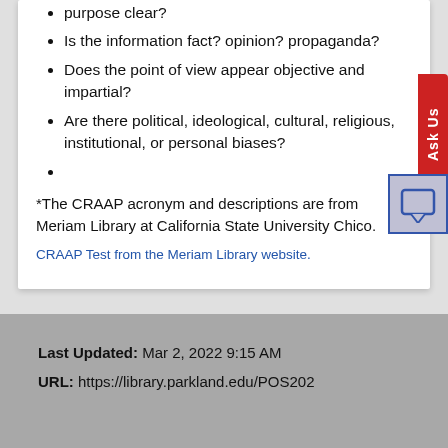purpose clear?
Is the information fact? opinion? propaganda?
Does the point of view appear objective and impartial?
Are there political, ideological, cultural, religious, institutional, or personal biases?
*The CRAAP acronym and descriptions are from Meriam Library at California State University Chico.
CRAAP Test from the Meriam Library website.
Last Updated: Mar 2, 2022 9:15 AM
URL: https://library.parkland.edu/POS202